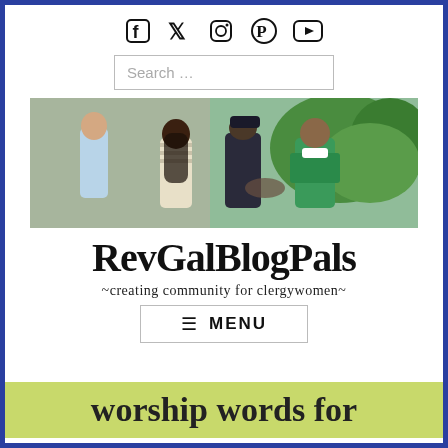[Figure (other): Social media icons: Facebook, Twitter, Instagram, Pinterest, YouTube]
[Figure (screenshot): Search input field with placeholder text 'Search ...']
[Figure (photo): Outdoor photo of people greeting a clergy woman in green vestments outside a stone church building]
RevGalBlogPals
~creating community for clergywomen~
[Figure (other): Menu button with hamburger icon and MENU text]
worship words for